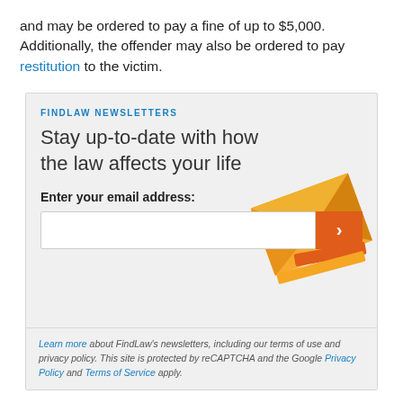and may be ordered to pay a fine of up to $5,000. Additionally, the offender may also be ordered to pay restitution to the victim.
FINDLAW NEWSLETTERS
Stay up-to-date with how the law affects your life
Enter your email address:
[Figure (screenshot): Email input field with orange submit arrow button and decorative orange envelope graphic]
Learn more about FindLaw's newsletters, including our terms of use and privacy policy. This site is protected by reCAPTCHA and the Google Privacy Policy and Terms of Service apply.